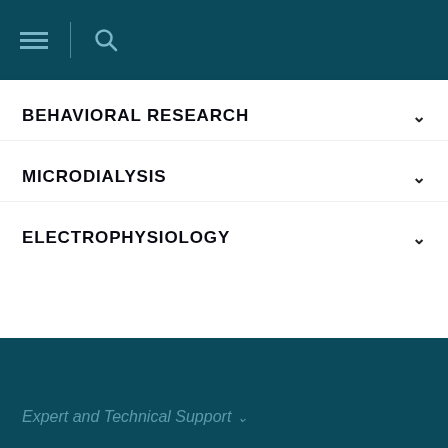Navigation header with hamburger menu and search icon
BEHAVIORAL RESEARCH
MICRODIALYSIS
ELECTROPHYSIOLOGY
Expert and Technical Support